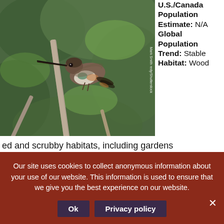[Figure (photo): A hummingbird perched on a branch amid green foliage, photographed by Mark Smith redy/Shutterstock]
U.S./Canada Population Estimate: N/A Global Population Trend: Stable Habitat: Wooded and scrubby habitats, including gardens
ed and scrubby habitats, including gardens
Threats: Glass collisions, cat predation
Our site uses cookies to collect anonymous information about your use of our website. This information is used to ensure that we give you the best experience on our website.